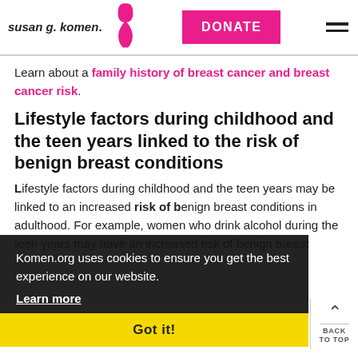[Figure (logo): Susan G. Komen logo with pink ribbon]
DONATE
Learn about a family history of breast cancer and breast cancer risk.
Lifestyle factors during childhood and the teen years linked to the risk of benign breast conditions
Lifestyle factors during childhood and the teen years may be linked to an increased risk of benign breast conditions in adulthood. For example, women who drink alcohol during the teen years may have an increased risk of benign breast
Komen.org uses cookies to ensure you get the best experience on our website.
Learn more
Got it!
BACK TO TOP